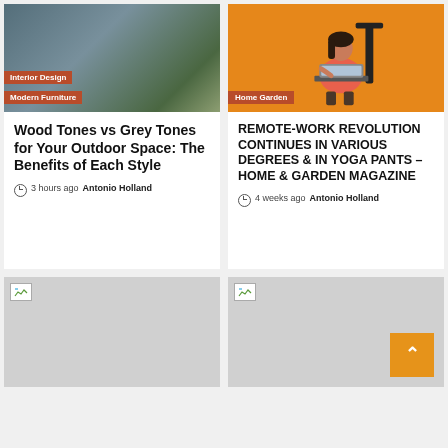[Figure (photo): Interior design photo showing modern outdoor furniture with shelves, sofa and plants. Tags: Interior Design, Modern Furniture]
Wood Tones vs Grey Tones for Your Outdoor Space: The Benefits of Each Style
3 hours ago  Antonio Holland
[Figure (illustration): Illustration of a woman working on laptop remotely, orange background. Tag: Home Garden]
REMOTE-WORK REVOLUTION CONTINUES IN VARIOUS DEGREES & IN YOGA PANTS – HOME & GARDEN MAGAZINE
4 weeks ago  Antonio Holland
[Figure (photo): Placeholder image (broken/loading) with grey background]
[Figure (photo): Placeholder image (broken/loading) with grey background, scroll-to-top button (orange, chevron up)]